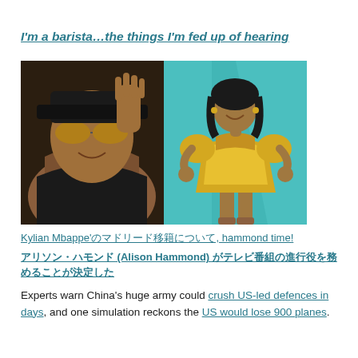I'm a barista…the things I'm fed up of hearing
[Figure (photo): Two side-by-side photos: left shows a woman in sunglasses and black swimsuit taking a selfie; right shows a woman in a yellow dress posing against a teal background.]
Kylian Mbappe'のマドリード移籍について, hammond time!
アリソン・ハモンド (Alison Hammond) がテレビ番組の進行役を務めることが決定した
Experts warn China's huge army could crush US-led defences in days, and one simulation reckons the US would lose 900 planes.